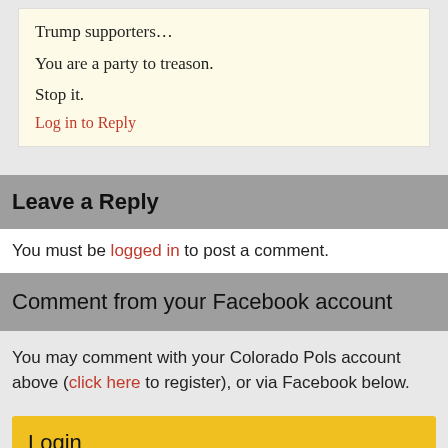Trump supporters…
You are a party to treason.
Stop it.
Log in to Reply
Leave a Reply
You must be logged in to post a comment.
Comment from your Facebook account
You may comment with your Colorado Pols account above (click here to register), or via Facebook below.
Login